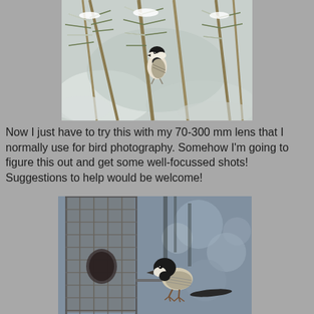[Figure (photo): A small chickadee bird perched among snow-covered pine branches, viewed from below, showing black cap and white chest]
Now I just have to try this with my 70-300 mm lens that I normally use for bird photography.  Somehow I'm going to figure this out and get some well-focussed shots!  Suggestions to help would be welcome!
[Figure (photo): A black-capped chickadee bird perched on a wire cage bird feeder, with blurred winter trees in the background]